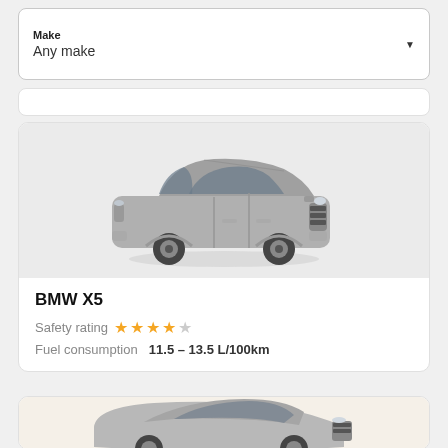Make
Any make
[Figure (photo): BMW X5 SUV vehicle image in grey/silver color on light grey background]
BMW X5
Safety rating ★★★★☆
Fuel consumption  11.5 – 13.5 L/100km
[Figure (photo): Partial view of another BMW sedan (BMW X6 or similar) on light beige/tan background, cut off at bottom of page]